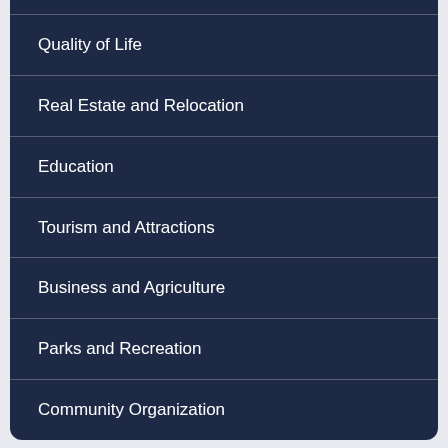Quality of Life
Real Estate and Relocation
Education
Tourism and Attractions
Business and Agriculture
Parks and Recreation
Community Organization